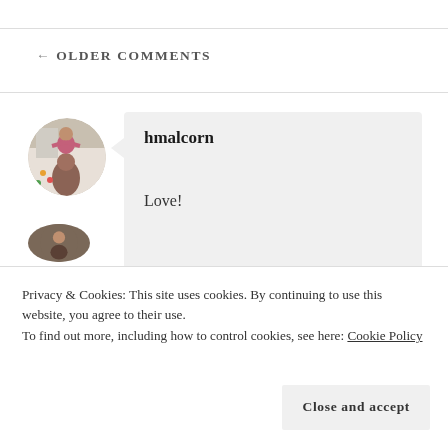← OLDER COMMENTS
[Figure (photo): Circular avatar photo showing a person with a child on their shoulders, holiday/family scene]
hmalcorn
Love!
Privacy & Cookies: This site uses cookies. By continuing to use this website, you agree to their use.
To find out more, including how to control cookies, see here: Cookie Policy
Close and accept